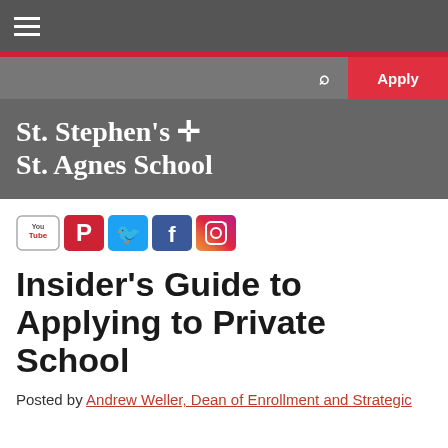St. Stephen's + St. Agnes School
[Figure (other): Social media icons row: YouTube, Pinterest, Twitter, Facebook, Instagram]
Insider's Guide to Applying to Private School
Posted by Andrew Weller, Dean of Enrollment and Strategic